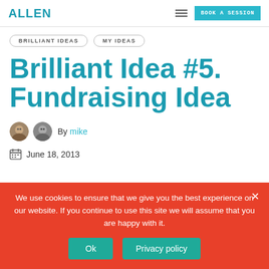ALLEN | BOOK A SESSION
BRILLIANT IDEAS | MY IDEAS
Brilliant Idea #5. Fundraising Idea
By mike
June 18, 2013
We use cookies to ensure that we give you the best experience on our website. If you continue to use this site we will assume that you are happy with it.
Ok | Privacy policy